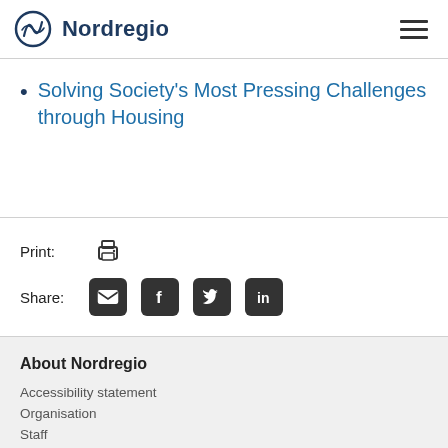Nordregio
Solving Society's Most Pressing Challenges through Housing
Print:
Share:
About Nordregio
Accessibility statement
Organisation
Staff
Nordic Thematic Groups 2021-2024
Nordic Arctic Cooperation Programme
Nordregio Magazine